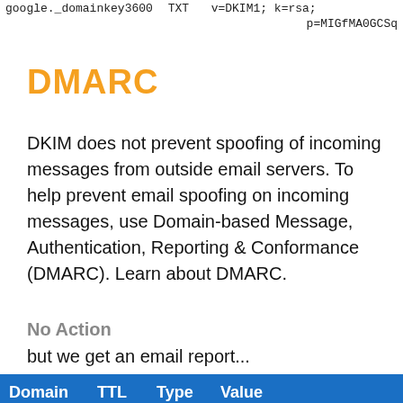google._domainkey  3600  TXT  v=DKIM1; k=rsa; p=MIGfMA0GCSq...
DMARC
DKIM does not prevent spoofing of incoming messages from outside email servers. To help prevent email spoofing on incoming messages, use Domain-based Message, Authentication, Reporting & Conformance (DMARC). Learn about DMARC.
No Action
but we get an email report...
| Domain | TTL | Type | Value |
| --- | --- | --- | --- |
| _dmarc | 3600 | TXT | "v=DMARC1; p=none; rua=mailto:domains@organi... |